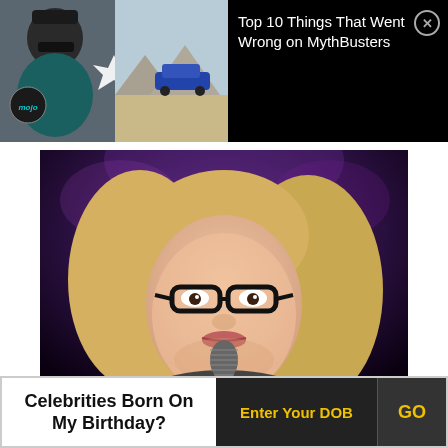[Figure (screenshot): YouTube video thumbnail showing MythBusters content with WatchMojo branding, arrow graphic, and a car on a runway]
Top 10 Things That Went Wrong on MythBusters
[Figure (photo): Woman with blonde hair, black-rimmed glasses, speaking into a microphone on a stage with purple background lighting]
Celebrities Born On My Birthday?
Enter Your DOB
GO